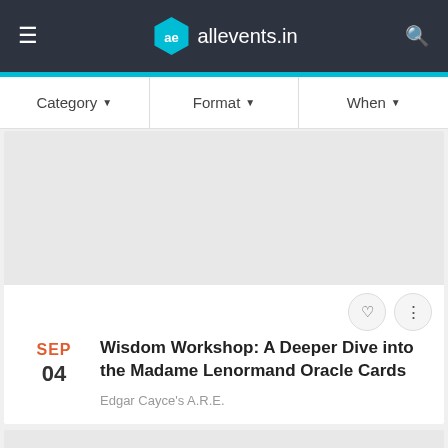allevents.in
Category ▾   Format ▾   When ▾
[Figure (other): Gray placeholder image area for event]
SEP 04  Wisdom Workshop: A Deeper Dive into the Madame Lenormand Oracle Cards  Edgar Cayce's A.R.E.